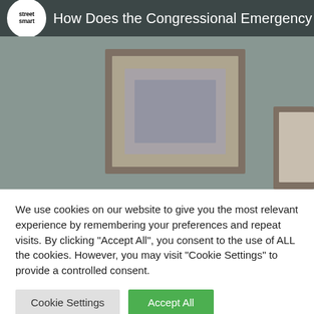[Figure (screenshot): Video thumbnail banner showing a YouTube-style video player header. The header bar has the 'street smart' logo (white circle with house icon) and the title text 'How Does the Congressional Emergency Renta...' on a dark background. Below is a blurred room interior image showing a framed picture on a gray-green wall.]
We use cookies on our website to give you the most relevant experience by remembering your preferences and repeat visits. By clicking "Accept All", you consent to the use of ALL the cookies. However, you may visit "Cookie Settings" to provide a controlled consent.
Cookie Settings
Accept All